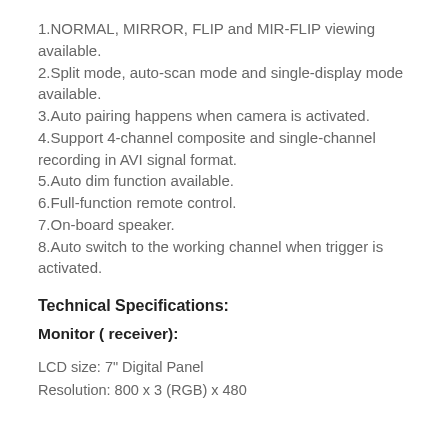1.NORMAL, MIRROR, FLIP and MIR-FLIP viewing available.
2.Split mode, auto-scan mode and single-display mode available.
3.Auto pairing happens when camera is activated.
4.Support 4-channel composite and single-channel recording in AVI signal format.
5.Auto dim function available.
6.Full-function remote control.
7.On-board speaker.
8.Auto switch to the working channel when trigger is activated.
Technical Specifications:
Monitor ( receiver):
LCD size: 7" Digital Panel
Resolution: 800 x 3 (RGB) x 480